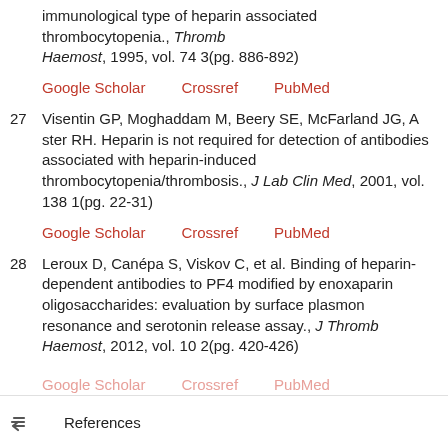immunological type of heparin associated thrombocytopenia., Thromb Haemost, 1995, vol. 74 3(pg. 886-892)
Google Scholar   Crossref   PubMed
27  Visentin GP, Moghaddam M, Beery SE, McFarland JG, Aster RH. Heparin is not required for detection of antibodies associated with heparin-induced thrombocytopenia/thrombosis., J Lab Clin Med, 2001, vol. 138 1(pg. 22-31)
Google Scholar   Crossref   PubMed
28  Leroux D, Canépa S, Viskov C, et al. Binding of heparin-dependent antibodies to PF4 modified by enoxaparin oligosaccharides: evaluation by surface plasmon resonance and serotonin release assay., J Thromb Haemost, 2012, vol. 10 2(pg. 420-426)
Google Scholar   Crossref   PubMed
References